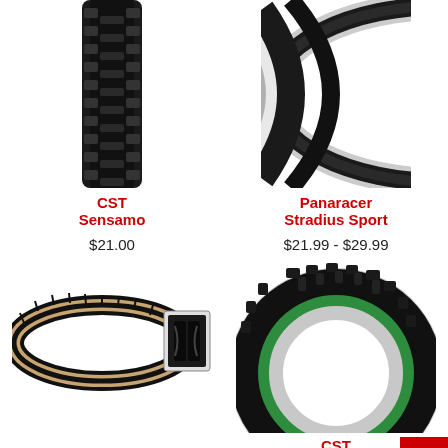[Figure (photo): CST Sensamo bicycle tire, black tread, close-up view of tread pattern]
CST
Sensamo
$21.00
[Figure (photo): Panaracer Stradius Sport bicycle tire, wheel/rim partially visible]
Panaracer
Stradius Sport
$21.99 - $29.99
[Figure (photo): Sunlite Hybrid V-Track Tire (27-inch), showing side profile with tan sidewall and cross-section insert]
Sunlite
Hybrid V-Track Tire (27-
[Figure (photo): CST Pika C1894 mountain bike tire with green bead and knobby tread, mounted on silver rim]
CST
Pika C1894